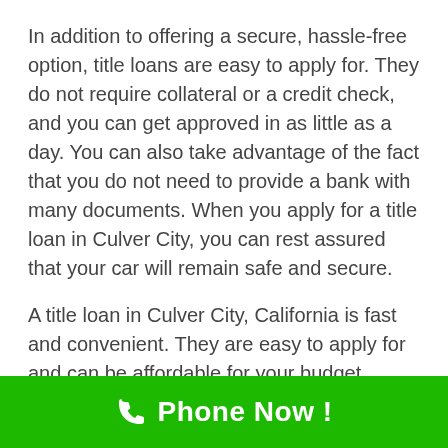In addition to offering a secure, hassle-free option, title loans are easy to apply for. They do not require collateral or a credit check, and you can get approved in as little as a day. You can also take advantage of the fact that you do not need to provide a bank with many documents. When you apply for a title loan in Culver City, you can rest assured that your car will remain safe and secure.
A title loan in Culver City, California is fast and convenient. They are easy to apply for and can be affordable for your budget. When applying for a title loan, all you need is the amount of money you
[Figure (infographic): Green call-to-action banner at the bottom with a white phone handset icon and bold white text reading 'Phone Now !']